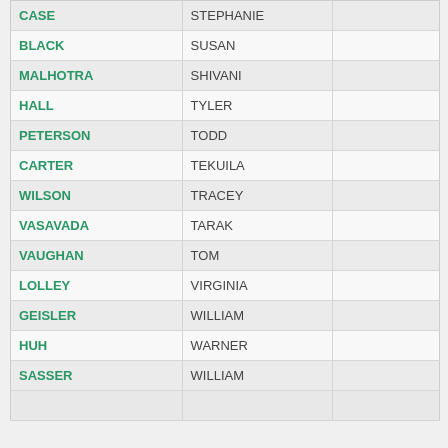| CASE | STEPHANIE |  |
| BLACK | SUSAN |  |
| MALHOTRA | SHIVANI |  |
| HALL | TYLER |  |
| PETERSON | TODD |  |
| CARTER | TEKUILA |  |
| WILSON | TRACEY |  |
| VASAVADA | TARAK |  |
| VAUGHAN | TOM |  |
| LOLLEY | VIRGINIA |  |
| GEISLER | WILLIAM |  |
| HUH | WARNER |  |
| SASSER | WILLIAM |  |